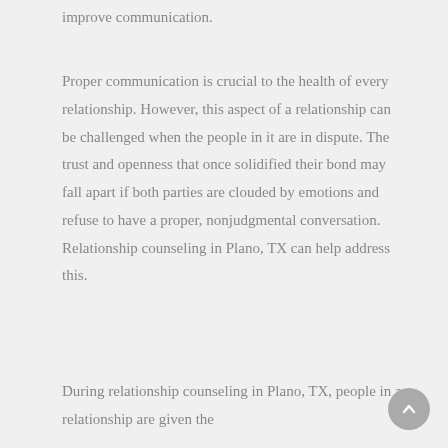improve communication.
Proper communication is crucial to the health of every relationship. However, this aspect of a relationship can be challenged when the people in it are in dispute. The trust and openness that once solidified their bond may fall apart if both parties are clouded by emotions and refuse to have a proper, nonjudgmental conversation. Relationship counseling in Plano, TX can help address this.
During relationship counseling in Plano, TX, people in a relationship are given the